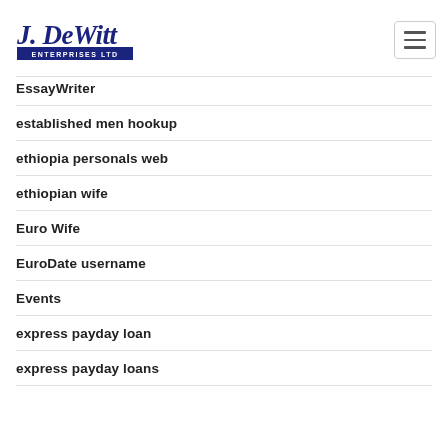J. DeWitt Enterprises Ltd
EssayWriter
established men hookup
ethiopia personals web
ethiopian wife
Euro Wife
EuroDate username
Events
express payday loan
express payday loans